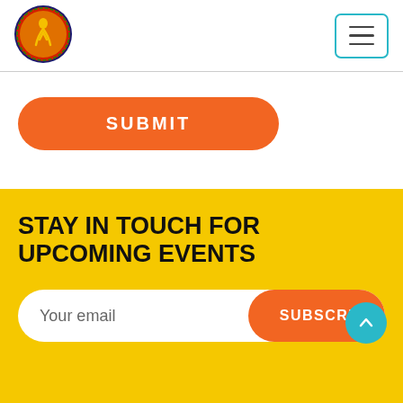[Figure (logo): Circular colorful logo with a figure/dancer silhouette in gold/red/dark blue]
[Figure (other): Hamburger menu button with three horizontal lines, teal border]
SUBMIT
STAY IN TOUCH FOR UPCOMING EVENTS
Your email
SUBSCRI